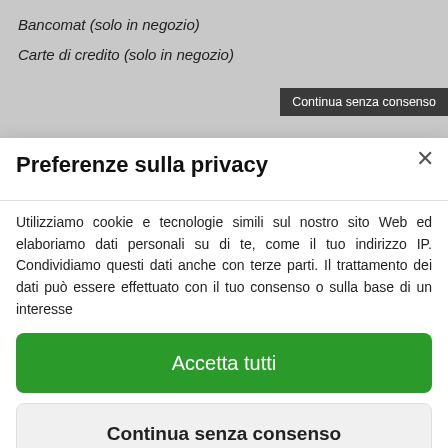Bancomat (solo in negozio)
Carte di credito (solo in negozio)
Continua senza consenso
Preferenze sulla privacy
Utilizziamo cookie e tecnologie simili sul nostro sito Web ed elaboriamo dati personali su di te, come il tuo indirizzo IP. Condividiamo questi dati anche con terze parti. Il trattamento dei dati può essere effettuato con il tuo consenso o sulla base di un interesse
Accetta tutti
Continua senza consenso
Preferenze sulla privacy individuali
Cookie policy • Privacy policy • Consent Management Platform by Real Cookie Banner